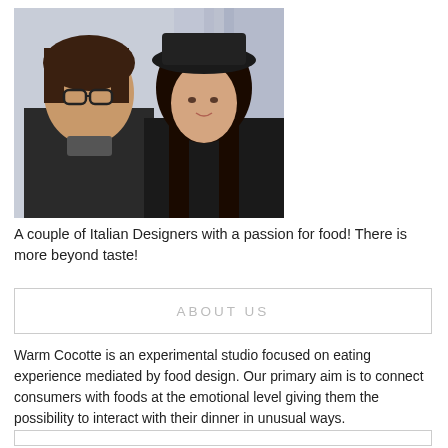[Figure (photo): A couple of two people posing for a photo. The person on the left wears glasses and a dark jacket. The person on the right wears a dark hat and jacket. Background appears to be a painted wall.]
A couple of Italian Designers with a passion for food! There is more beyond taste!
ABOUT US
Warm Cocotte is an experimental studio focused on eating experience mediated by food design. Our primary aim is to connect consumers with foods at the emotional level giving them the possibility to interact with their dinner in unusual ways.